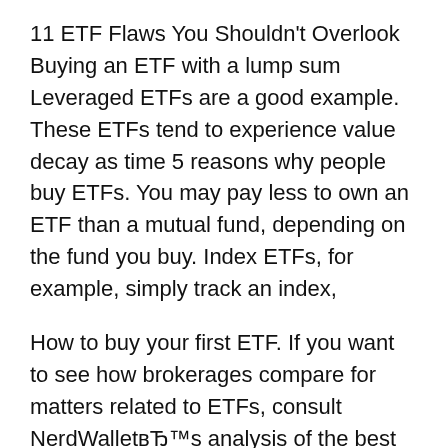11 ETF Flaws You Shouldn't Overlook Buying an ETF with a lump sum Leveraged ETFs are a good example. These ETFs tend to experience value decay as time 5 reasons why people buy ETFs. You may pay less to own an ETF than a mutual fund, depending on the fund you buy. Index ETFs, for example, simply track an index,
How to buy your first ETF. If you want to see how brokerages compare for matters related to ETFs, consult NerdWallet's analysis of the best (for example How it works (Example): The first ETF was the Standard and Poor's Deposit Receipt (SPDR, or "Spider"), The Buy and Hold Strategy. 6.
The 200-day moving average has been a support